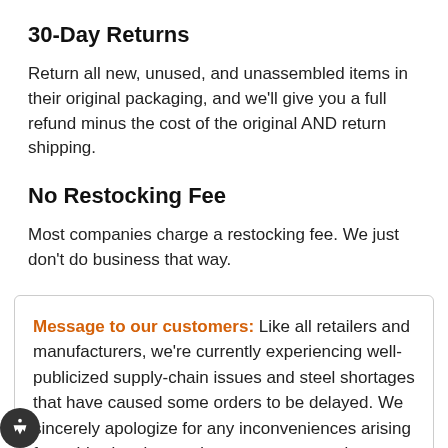30-Day Returns
Return all new, unused, and unassembled items in their original packaging, and we'll give you a full refund minus the cost of the original AND return shipping.
No Restocking Fee
Most companies charge a restocking fee. We just don't do business that way.
Message to our customers: Like all retailers and manufacturers, we're currently experiencing well-publicized supply-chain issues and steel shortages that have caused some orders to be delayed. We sincerely apologize for any inconveniences arising from this situation, and we assure you we're making every effort to solve